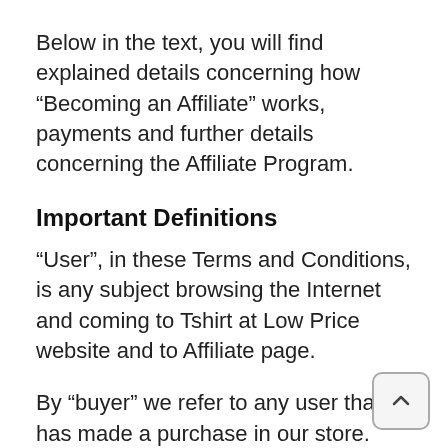Below in the text, you will find explained details concerning how “Becoming an Affiliate” works, payments and further details concerning the Affiliate Program.
Important Definitions
“User”, in these Terms and Conditions, is any subject browsing the Internet and coming to Tshirt at Low Price website and to Affiliate page.
By “buyer” we refer to any user that has made a purchase in our store.
“Affiliate” is any person adhering to Tshirt at Low Price Affiliate Program and subject to